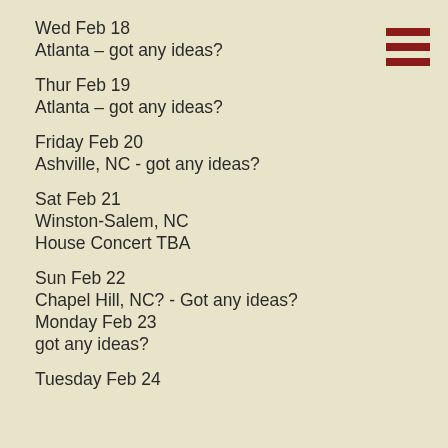Wed Feb 18
Atlanta – got any ideas?
Thur Feb 19
Atlanta – got any ideas?
Friday Feb 20
Ashville, NC - got any ideas?
Sat Feb 21
Winston-Salem, NC
House Concert TBA
Sun Feb 22
Chapel Hill, NC? - Got any ideas?
Monday Feb 23
got any ideas?
Tuesday Feb 24